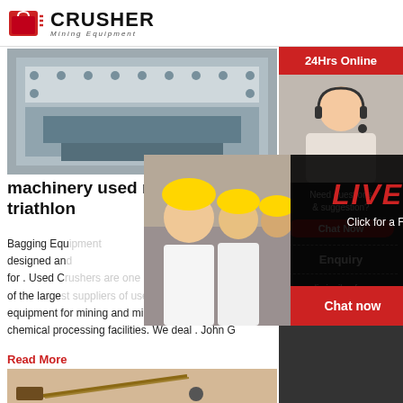[Figure (logo): CRUSHER Mining Equipment logo with red shopping bag icon]
[Figure (photo): Industrial machinery - large metal equipment with bolts and panels]
machinery used manufactured sa... triathlon
Bagging Equipment designed and for . Used C of the large equipment for mining and minerals applications chemical processing facilities. We deal . John G
Read More
[Figure (photo): Mining site with conveyor belt and equipment in dusty outdoor setting]
[Figure (photo): Live Chat overlay with workers in hard hats and customer service agent]
24Hrs Online
LIVE CHAT
Click for a Free Consultation
Chat now
Chat later
Need questions & suggestion?
Chat Now
Enquiry
limingjlmofen@sina.com